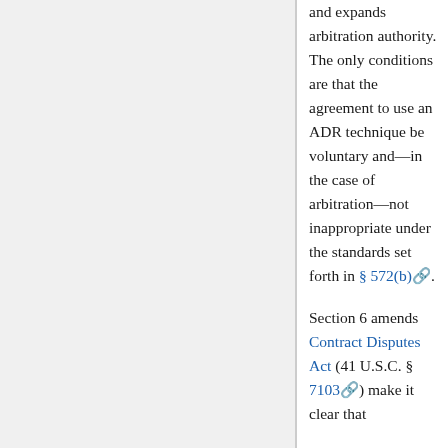and expands arbitration authority. The only conditions are that the agreement to use an ADR technique be voluntary and—in the case of arbitration—not inappropriate under the standards set forth in § 572(b). Section 6 amends Contract Disputes Act (41 U.S.C. § 7103) make it clear that